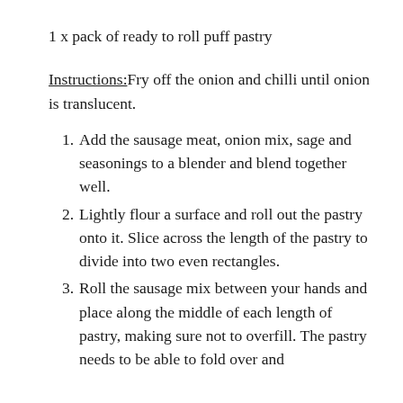1 x pack of ready to roll puff pastry
Instructions: Fry off the onion and chilli until onion is translucent.
1. Add the sausage meat, onion mix, sage and seasonings to a blender and blend together well.
2. Lightly flour a surface and roll out the pastry onto it. Slice across the length of the pastry to divide into two even rectangles.
3. Roll the sausage mix between your hands and place along the middle of each length of pastry, making sure not to overfill. The pastry needs to be able to fold over and